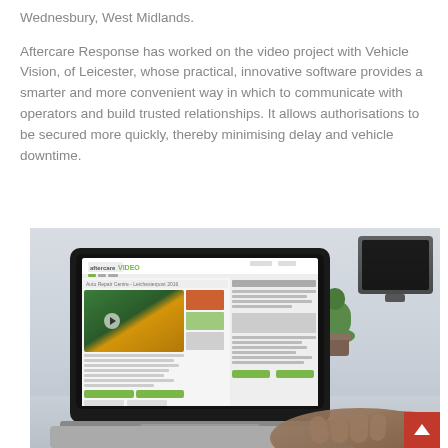Wednesbury, West Midlands.
Aftercare Response has worked on the video project with Vehicle Vision, of Leicester, whose practical, innovative software provides a smarter and more convenient way in which to communicate with operators and build trusted relationships. It allows authorisations to be secured more quickly, thereby minimising delay and vehicle downtime.
[Figure (photo): A person typing on a laptop displaying the Aftercare Video website interface with a video thumbnail of vehicle/industrial content. A cactus plant and a monitor are visible in the background.]